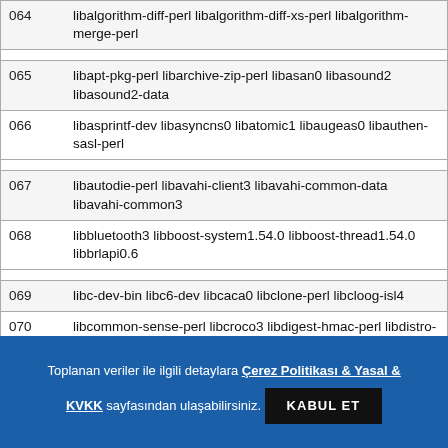| # | Packages |
| --- | --- |
| 064 | libalgorithm-diff-perl libalgorithm-diff-xs-perl libalgorithm-merge-perl |
| 065 | libapt-pkg-perl libarchive-zip-perl libasan0 libasound2 libasound2-data |
| 066 | libasprintf-dev libasyncns0 libatomic1 libaugeas0 libauthen-sasl-perl |
| 067 | libautodie-perl libavahi-client3 libavahi-common-data libavahi-common3 |
| 068 | libbluetooth3 libboost-system1.54.0 libboost-thread1.54.0 libbrlapi0.6 |
| 069 | libc-dev-bin libc6-dev libcaca0 libclone-perl libcloog-isl4 |
| 070 | libcommon-sense-perl libcroco3 libdigest-hmac-perl libdistro-info-perl |
| 071 | libdpkg-perl libemail-valid-perl libencode-locale-perl |
Toplanan veriler ile ilgili detaylara Çerez Politikası & Yasal & KVKK sayfasından ulaşabilirsiniz. KABUL ET